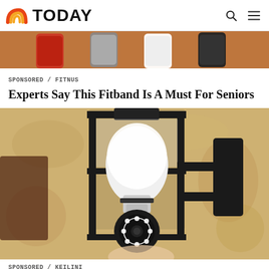TODAY
[Figure (photo): Partial photo of fitness trackers/smartwatches on a brick wall background, cropped at top]
SPONSORED / FITNUS
Experts Say This Fitband Is A Must For Seniors
[Figure (photo): A security camera shaped like a light bulb installed in a wall-mounted black lantern fixture on a textured stucco wall]
SPONSORED / KEILINI